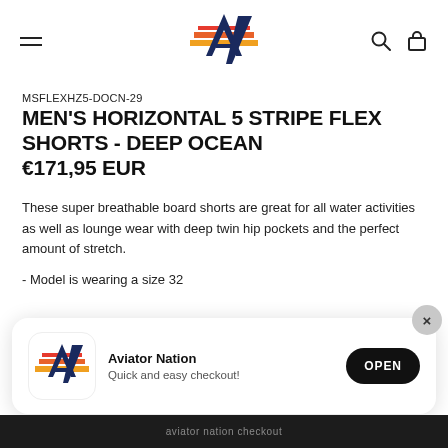Aviator Nation - navigation header with logo
MSFLEXHZ5-DOCN-29
MEN'S HORIZONTAL 5 STRIPE FLEX SHORTS - DEEP OCEAN €171,95 EUR
These super breathable board shorts are great for all water activities as well as lounge wear with deep twin hip pockets and the perfect amount of stretch.
- Model is wearing a size 32
[Figure (screenshot): Aviator Nation app install banner with logo, text 'Quick and easy checkout!' and OPEN button]